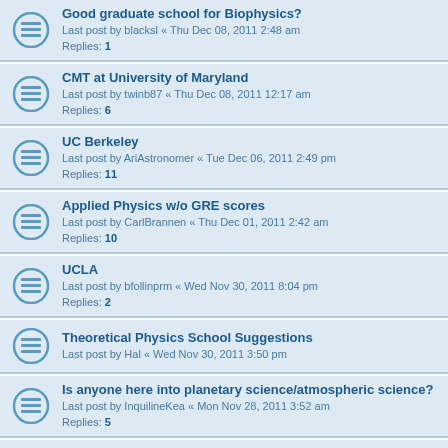Good graduate school for Biophysics?
Last post by blacksl « Thu Dec 08, 2011 2:48 am
Replies: 1
CMT at University of Maryland
Last post by twinb87 « Thu Dec 08, 2011 12:17 am
Replies: 6
UC Berkeley
Last post by AriAstronomer « Tue Dec 06, 2011 2:49 pm
Replies: 11
Applied Physics w/o GRE scores
Last post by CarlBrannen « Thu Dec 01, 2011 2:42 am
Replies: 10
UCLA
Last post by bfollinprm « Wed Nov 30, 2011 8:04 pm
Replies: 2
Theoretical Physics School Suggestions
Last post by Hal « Wed Nov 30, 2011 3:50 pm
Is anyone here into planetary science/atmospheric science?
Last post by InquilineKea « Mon Nov 28, 2011 3:52 am
Replies: 5
needing general advice on application strength
Last post by bfollinprm « Mon Nov 21, 2011 9:36 pm
Replies: 8
UCLA vs USC
Last post by asdfuogh « Sun Nov 13, 2011 11:52 pm
Replies: 2
Desperate seeking suggestion
Last post by CarlBrannen « Sun Nov 13, 2011 6:20 pm